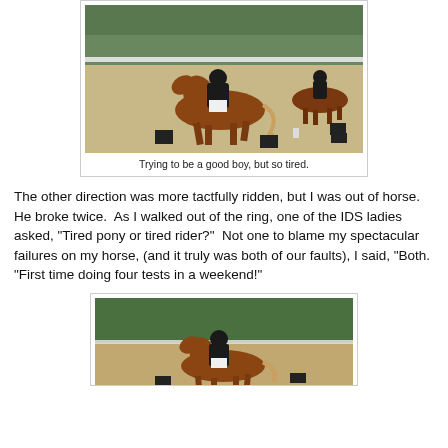[Figure (photo): A chestnut horse with rider in dressage attire trotting in a sand arena, with another horse and rider visible in the background, trees and white fence behind.]
Trying to be a good boy, but so tired.
The other direction was more tactfully ridden, but I was out of horse.  He broke twice.  As I walked out of the ring, one of the IDS ladies asked, "Tired pony or tired rider?"  Not one to blame my spectacular failures on my horse, (and it truly was both of our faults), I said, "Both.  "First time doing four tests in a weekend!"
[Figure (photo): A chestnut horse with rider in dressage attire performing in an arena, green trees visible in background.]